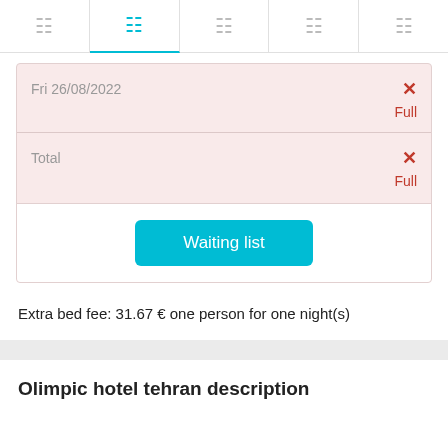[Figure (screenshot): Navigation tab bar with 5 icon tabs, second tab highlighted in cyan]
Fri 26/08/2022
✕
Full
Total
✕
Full
Waiting list
Extra bed fee: 31.67 € one person for one night(s)
Olimpic hotel tehran description